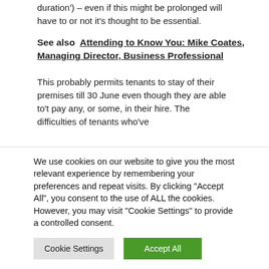duration') – even if this might be prolonged will have to or not it's thought to be essential.
See also  Attending to Know You: Mike Coates, Managing Director, Business Professional
This probably permits tenants to stay of their premises till 30 June even though they are able to't pay any, or some, in their hire. The difficulties of tenants who've
We use cookies on our website to give you the most relevant experience by remembering your preferences and repeat visits. By clicking "Accept All", you consent to the use of ALL the cookies. However, you may visit "Cookie Settings" to provide a controlled consent.